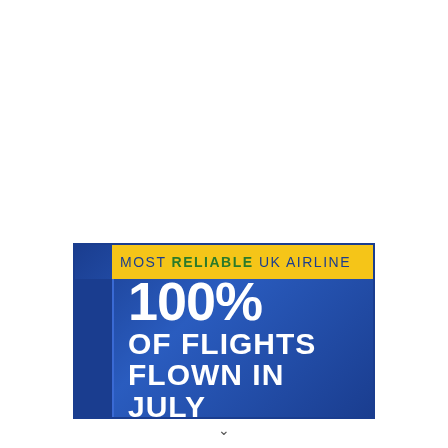[Figure (infographic): Airline advertisement banner on blue gradient background with yellow header strip reading 'MOST RELIABLE UK AIRLINE' and large white text reading '100% OF FLIGHTS FLOWN IN JULY']